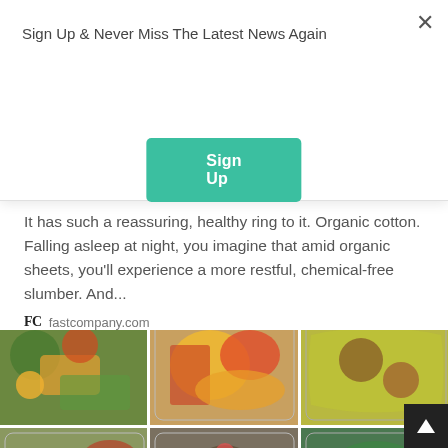Sign Up & Never Miss The Latest News Again
Sign Up
It has such a reassuring, healthy ring to it. Organic cotton. Falling asleep at night, you imagine that amid organic sheets, you'll experience a more restful, chemical-free slumber. And...
fastcompany.com
[Figure (photo): Six food meal prep photos in a 3x2 grid showing colorful salads and grain bowls in glass containers]
[Figure (other): Back to top button in bottom right corner]